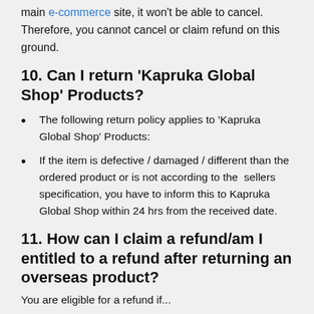main e-commerce site, it won't be able to cancel. Therefore, you cannot cancel or claim refund on this ground.
10. Can I return ‘Kapruka Global Shop’ Products?
The following return policy applies to ‘Kapruka Global Shop’ Products:
If the item is defective / damaged / different than the ordered product or is not according to the  sellers specification, you have to inform this to Kapruka Global Shop within 24 hrs from the received date.
11. How can I claim a refund/am I entitled to a refund after returning an overseas product?
You are eligible for a refund if...